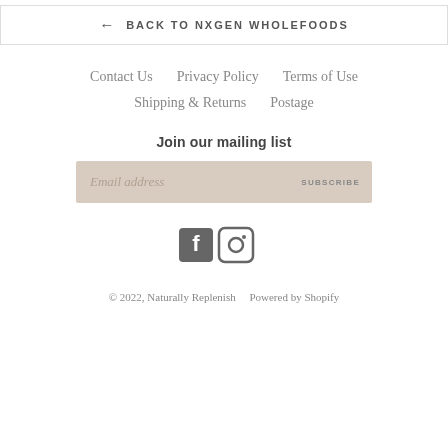← BACK TO NXGEN WHOLEFOODS
Contact Us   Privacy Policy   Terms of Use
Shipping & Returns   Postage
Join our mailing list
Email address  [input]  SUBSCRIBE
[Figure (other): Facebook and Instagram social media icons]
© 2022, Naturally Replenish   Powered by Shopify